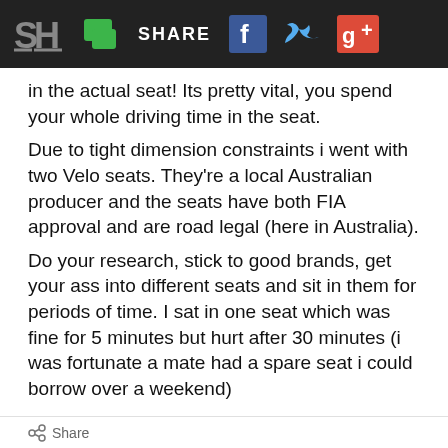SH SHARE [Facebook] [Twitter] [Google+]
in the actual seat! Its pretty vital, you spend your whole driving time in the seat.
Due to tight dimension constraints i went with two Velo seats. They're a local Australian producer and the seats have both FIA approval and are road legal (here in Australia).
Do your research, stick to good brands, get your ass into different seats and sit in them for periods of time. I sat in one seat which was fine for 5 minutes but hurt after 30 minutes (i was fortunate a mate had a spare seat i could borrow over a weekend)
Share